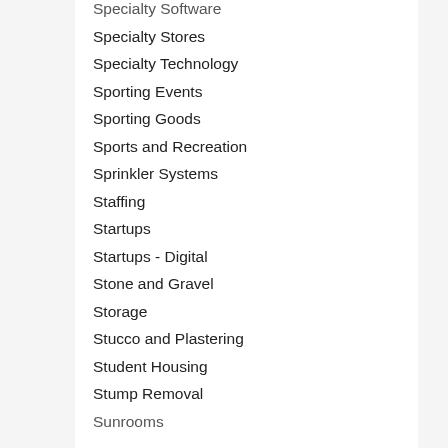Specialty Software
Specialty Stores
Specialty Technology
Sporting Events
Sporting Goods
Sports and Recreation
Sprinkler Systems
Staffing
Startups
Startups - Digital
Stone and Gravel
Storage
Stucco and Plastering
Student Housing
Stump Removal
Sunrooms